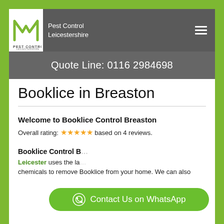Pest Control Leicestershire
Quote Line: 0116 2984698
Booklice in Breaston
Welcome to Booklice Control Breaston
Overall rating: ★★★★★ based on 4 reviews.
Booklice Control B... Leicester uses the la... chemicals to remove Booklice from your home. We can also
[Figure (logo): M Pest Control Leicestershire logo in white box on grey nav bar]
Contact Us on WhatsApp